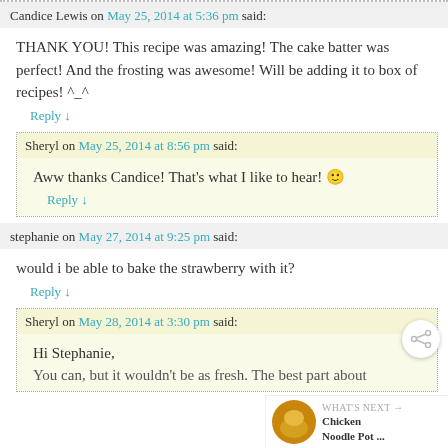Candice Lewis on May 25, 2014 at 5:36 pm said:
THANK YOU! This recipe was amazing! The cake batter was perfect! And the frosting was awesome! Will be adding it to box of recipes! ^_^
Reply ↓
Sheryl on May 25, 2014 at 8:56 pm said:
Aww thanks Candice! That's what I like to hear! 😊
Reply ↓
stephanie on May 27, 2014 at 9:25 pm said:
would i be able to bake the strawberry with it?
Reply ↓
Sheryl on May 28, 2014 at 3:30 pm said:
Hi Stephanie,
You can, but it wouldn't be as fresh. The best part about